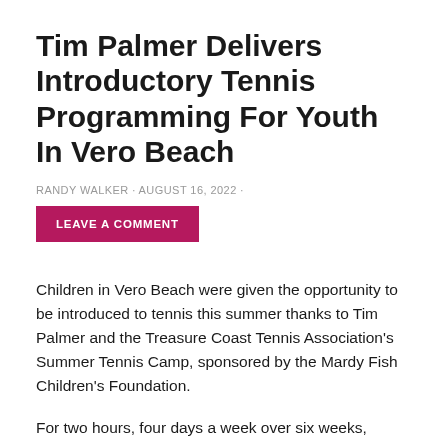Tim Palmer Delivers Introductory Tennis Programming For Youth In Vero Beach
RANDY WALKER · AUGUST 16, 2022 ·
LEAVE A COMMENT
Children in Vero Beach were given the opportunity to be introduced to tennis this summer thanks to Tim Palmer and the Treasure Coast Tennis Association's Summer Tennis Camp, sponsored by the Mardy Fish Children's Foundation.
For two hours, four days a week over six weeks,